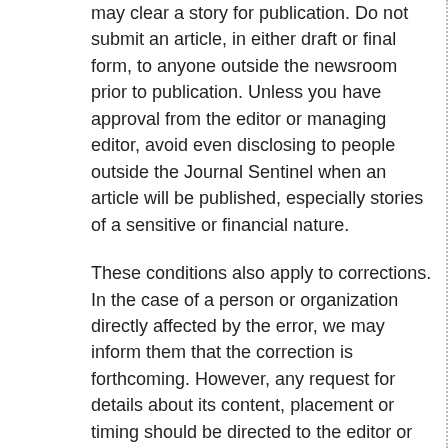may clear a story for publication. Do not submit an article, in either draft or final form, to anyone outside the newsroom prior to publication. Unless you have approval from the editor or managing editor, avoid even disclosing to people outside the Journal Sentinel when an article will be published, especially stories of a sensitive or financial nature.
These conditions also apply to corrections. In the case of a person or organization directly affected by the error, we may inform them that the correction is forthcoming. However, any request for details about its content, placement or timing should be directed to the editor or managing editor.
Section II – Honesty
Attribution of sources. Use of an anonymous source should be approved in advance of publication by the editor, managing editor or news editor in charge. Whenever possible, reporters should get prior approval from an editor before agreeing to protect a source's identity.